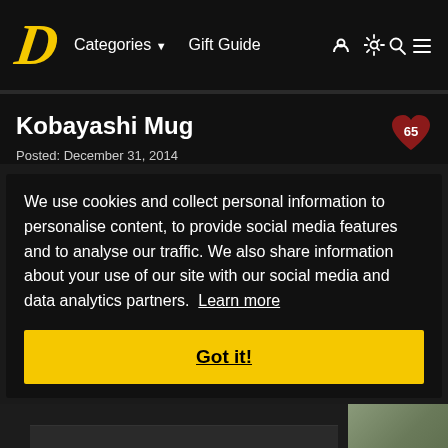D  Categories ▼  Gift Guide
Kobayashi Mug
Posted: December 31, 2014
We use cookies and collect personal information to personalise content, to provide social media features and to analyse our traffic. We also share information about your use of our site with our social media and data analytics partners. Learn more
Got it!
[Figure (screenshot): Bottom portion of a web page showing a partial product image for Kobayashi Mug]